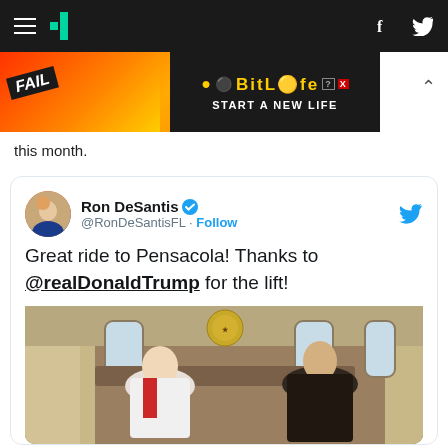HuffPost navigation bar with hamburger menu, logo, Facebook and Twitter icons
[Figure (screenshot): BitLife advertisement banner: FAIL text on left with flames and cartoon character, BitLife logo and START A NEW LIFE text on right with dark background]
this month.
[Figure (screenshot): Embedded tweet from Ron DeSantis (@RonDeSantisFL) with blue verified checkmark. Tweet text: 'Great ride to Pensacola! Thanks to @realDonaldTrump for the lift!' with a photo of two men seated inside what appears to be Air Force One.]